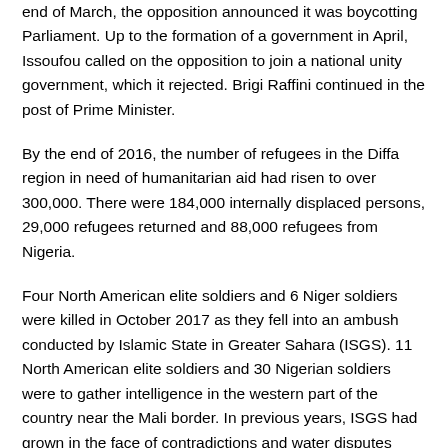end of March, the opposition announced it was boycotting Parliament. Up to the formation of a government in April, Issoufou called on the opposition to join a national unity government, which it rejected. Brigi Raffini continued in the post of Prime Minister.
By the end of 2016, the number of refugees in the Diffa region in need of humanitarian aid had risen to over 300,000. There were 184,000 internally displaced persons, 29,000 refugees returned and 88,000 refugees from Nigeria.
Four North American elite soldiers and 6 Niger soldiers were killed in October 2017 as they fell into an ambush conducted by Islamic State in Greater Sahara (ISGS). 11 North American elite soldiers and 30 Nigerian soldiers were to gather intelligence in the western part of the country near the Mali border. In previous years, ISGS had grown in the face of contradictions and water disputes between Tuaroger from